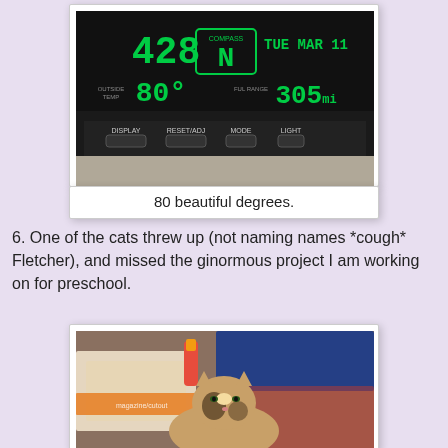[Figure (photo): Car dashboard display showing compass N, temperature 80 degrees, date TUE MAR 11, reading 305, and 428. Buttons: DISPLAY, RESET/ADJ, MODE, LIGHT.]
80 beautiful degrees.
6. One of the cats threw up (not naming names *cough* Fletcher), and missed the ginormous project I am working on for preschool.
[Figure (photo): A calico cat lying on a cluttered table covered with papers, magazines, craft supplies including a glue stick, with colorful items scattered around.]